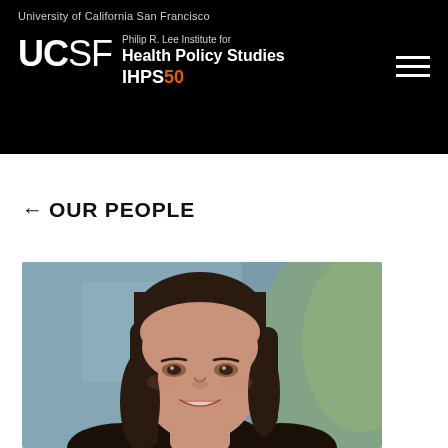University of California San Francisco
[Figure (logo): UCSF logo with Philip R. Lee Institute for Health Policy Studies IHPS50 wordmark on black background]
← OUR PEOPLE
[Figure (photo): Professional headshot of a woman with long dark hair, smiling, with blurred outdoor background]